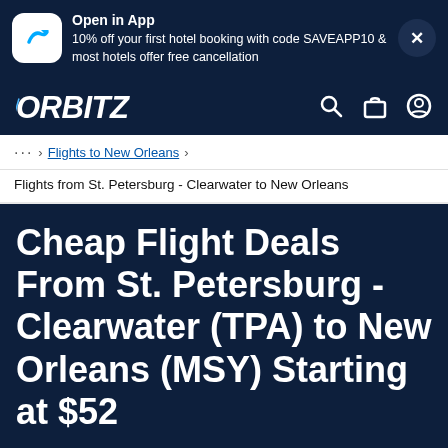[Figure (screenshot): Orbitz app install banner with app icon, promotional text about 10% off first hotel booking with code SAVEAPP10, and a close button]
[Figure (logo): Orbitz logo with search, bag, and account icons in dark navy navigation bar]
... > Flights to New Orleans >
Flights from St. Petersburg - Clearwater to New Orleans
Cheap Flight Deals From St. Petersburg - Clearwater (TPA) to New Orleans (MSY) Starting at $52